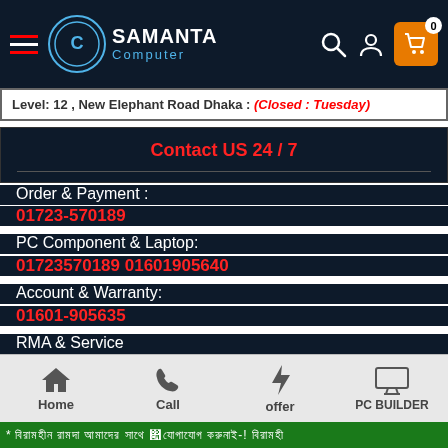Samanta Computer - Navigation header with logo, search, user, and cart icons
Level: 12 , New Elephant Road Dhaka : (Closed : Tuesday)
Contact US 24 / 7
Order & Payment :
01723-570189
PC Component & Laptop:
01723570189 01601905640
Account & Warranty:
01601-905635
RMA & Service
01601905639
Home | Call | offer | PC BUILDER